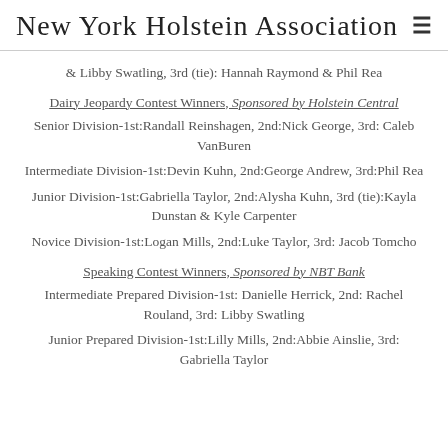New York Holstein Association
& Libby Swatling, 3rd (tie): Hannah Raymond & Phil Rea
Dairy Jeopardy Contest Winners, Sponsored by Holstein Central
Senior Division-1st:Randall Reinshagen, 2nd:Nick George, 3rd: Caleb VanBuren
Intermediate Division-1st:Devin Kuhn, 2nd:George Andrew, 3rd:Phil Rea
Junior Division-1st:Gabriella Taylor, 2nd:Alysha Kuhn, 3rd (tie):Kayla Dunstan & Kyle Carpenter
Novice Division-1st:Logan Mills, 2nd:Luke Taylor, 3rd: Jacob Tomcho
Speaking Contest Winners, Sponsored by NBT Bank
Intermediate Prepared Division-1st: Danielle Herrick, 2nd: Rachel Rouland, 3rd: Libby Swatling
Junior Prepared Division-1st:Lilly Mills, 2nd:Abbie Ainslie, 3rd: Gabriella Taylor